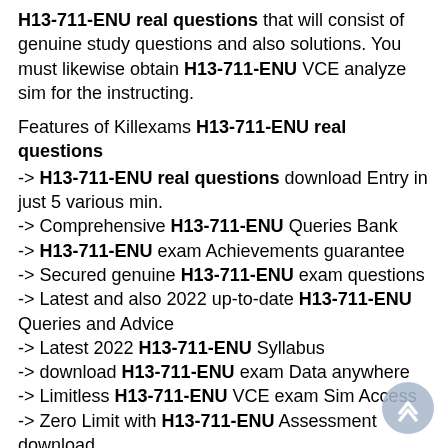H13-711-ENU real questions that will consist of genuine study questions and also solutions. You must likewise obtain H13-711-ENU VCE analyze sim for the instructing.
Features of Killexams H13-711-ENU real questions
-> H13-711-ENU real questions download Entry in just 5 various min.
-> Comprehensive H13-711-ENU Queries Bank
-> H13-711-ENU exam Achievements guarantee
-> Secured genuine H13-711-ENU exam questions
-> Latest and also 2022 up-to-date H13-711-ENU Queries and Advice
-> Latest 2022 H13-711-ENU Syllabus
-> download H13-711-ENU exam Data anywhere
-> Limitless H13-711-ENU VCE exam Sim Access
-> Zero Limit with H13-711-ENU Assessment download
-> Good Discount Coupons
-> fully Secure Buy
-> 100% Top secret